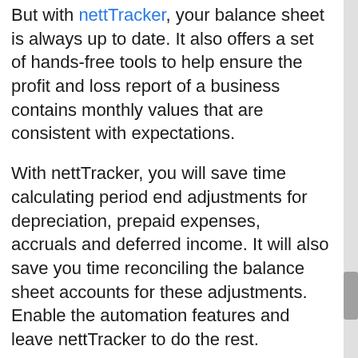But with nettTracker, your balance sheet is always up to date. It also offers a set of hands-free tools to help ensure the profit and loss report of a business contains monthly values that are consistent with expectations.
With nettTracker, you will save time calculating period end adjustments for depreciation, prepaid expenses, accruals and deferred income. It will also save you time reconciling the balance sheet accounts for these adjustments. Enable the automation features and leave nettTracker to do the rest.
Find out how you can have consistent balance sheet and profit & loss reports when it comes to your fixed assets by visiting with the folks at